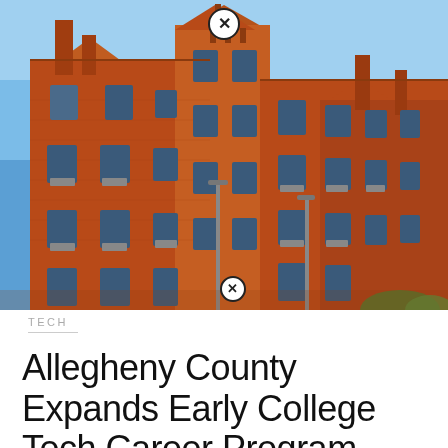[Figure (photo): Red brick Gothic-style university or college building photographed against a clear blue sky, multi-story with ornate chimneys and gabled roofline]
TECH
Allegheny County Expands Early College Tech Career Program